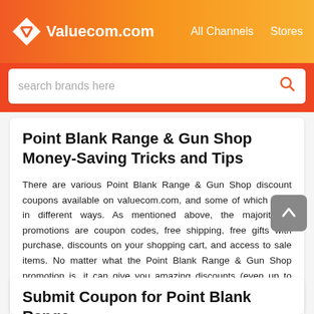Valuecom.com  All Channels  Stores
search brands here
Point Blank Range & Gun Shop Money-Saving Tricks and Tips
There are various Point Blank Range & Gun Shop discount coupons available on valuecom.com, and some of which work in different ways. As mentioned above, the majority of promotions are coupon codes, free shipping, free gifts with purchase, discounts on your shopping cart, and access to sale items. No matter what the Point Blank Range & Gun Shop promotion is, it can give you amazing discounts (even up to 75%). These Point Blank Range & Gun Shop offers are exclusively available exclusively through valuecom.com. Last updated in August 2022.
Submit Coupon for Point Blank Range & Gun Shop